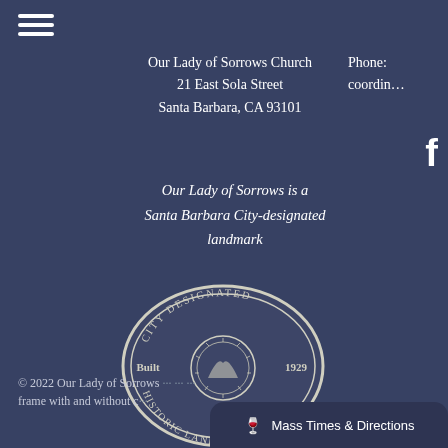[Figure (logo): Hamburger menu icon with three horizontal white lines]
Our Lady of Sorrows Church
21 East Sola Street
Santa Barbara, CA 93101
Phone:
coordinates
[Figure (logo): Facebook 'f' logo icon in white]
Our Lady of Sorrows is a Santa Barbara City-designated landmark
[Figure (logo): City Designated Historic Landmark oval seal. Text reads: CITY DESIGNATED at top, HISTORIC LANDMARK at bottom, Built 1929 on left and right sides, with City of Santa Barbara seal in center.]
© 2022 Our Lady of Sorrows ... frame with and without c...
Mass Times & Directions